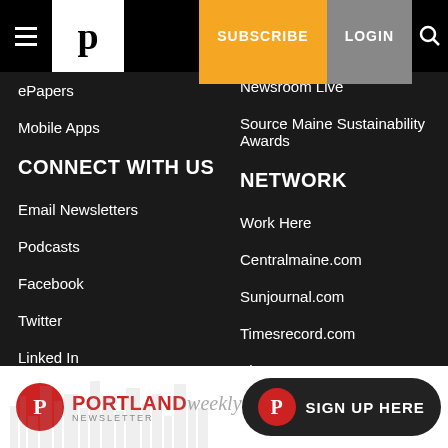Navigation bar with hamburger menu, Portland Press Herald logo, SUBSCRIBE button, LOGIN button, search icon
ePapers
Mobile Apps
CONNECT WITH US
Email Newsletters
Podcasts
Facebook
Twitter
Linked In
Instagram
Pinterest
Newsroom Live
Source Maine Sustainability Awards
NETWORK
Work Here
Centralmaine.com
Sunjournal.com
Timesrecord.com
The Forecasters
Mainely Media Weeklies
[Figure (logo): Portland Weekly Newsletter sign up banner with red circular P logo, PORTLAND in red bold text, weekly in gray italic, NEWSLETTER in small caps, and a dark pill-shaped button with red P circle and SIGN UP HERE text]